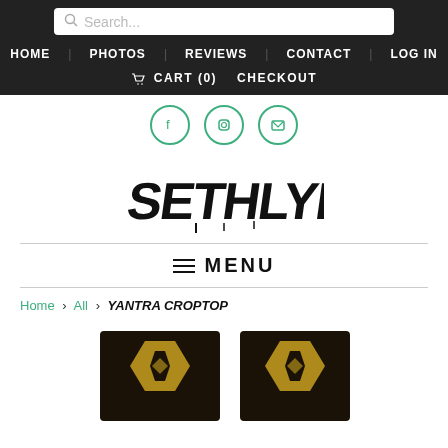Search... | HOME | PHOTOS | REVIEWS | CONTACT | LOG IN | CART (0) | CHECKOUT
[Figure (logo): Three social media icons in green circles: Facebook, Instagram, Email]
[Figure (logo): SethLyfe brand logo in stylized graffiti font]
≡ MENU
Home > All > YANTRA CROPTOP
[Figure (photo): Partial view of two YANTRA CROPTOP garments with geometric patterns in black and gold]